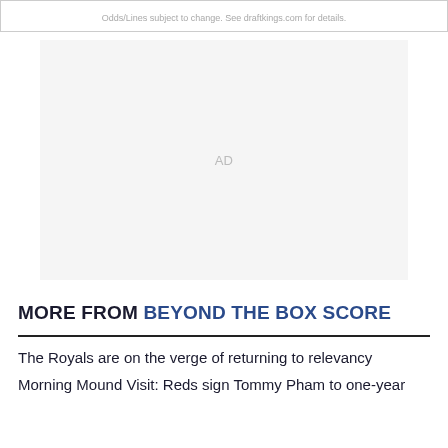Odds/Lines subject to change. See draftkings.com for details.
[Figure (other): Advertisement placeholder block with 'AD' text centered in a light gray rectangle]
MORE FROM BEYOND THE BOX SCORE
The Royals are on the verge of returning to relevancy
Morning Mound Visit: Reds sign Tommy Pham to one-year deal